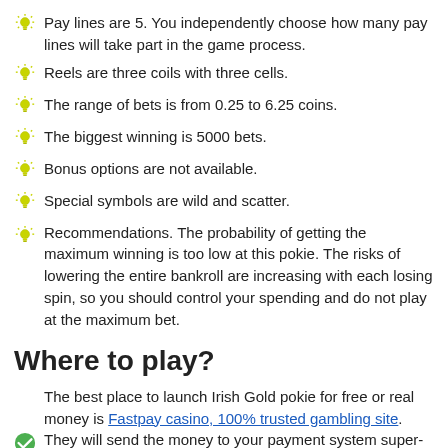Pay lines are 5. You independently choose how many pay lines will take part in the game process.
Reels are three coils with three cells.
The range of bets is from 0.25 to 6.25 coins.
The biggest winning is 5000 bets.
Bonus options are not available.
Special symbols are wild and scatter.
Recommendations. The probability of getting the maximum winning is too low at this pokie. The risks of lowering the entire bankroll are increasing with each losing spin, so you should control your spending and do not play at the maximum bet.
Where to play?
The best place to launch Irish Gold pokie for free or real money is Fastpay casino, 100% trusted gambling site. They will send the money to your payment system super-